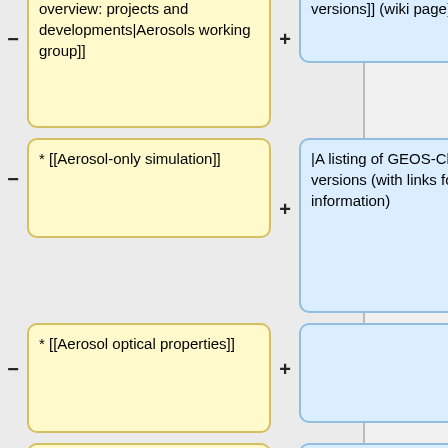[Figure (flowchart): A wiki diff/comparison view showing rows of minus and plus buttons with yellow boxes (left column showing wiki markup items like [[Aerosol-only simulation]], [[Aerosol optical properties]], [[Aerosol thermodynamical equilibrium]], [[Carbonaceous aerosols]], [[Mineral dust]]) and blue boxes (right column showing descriptions like 'A listing of GEOS-Chem versions (with links for more information)')]